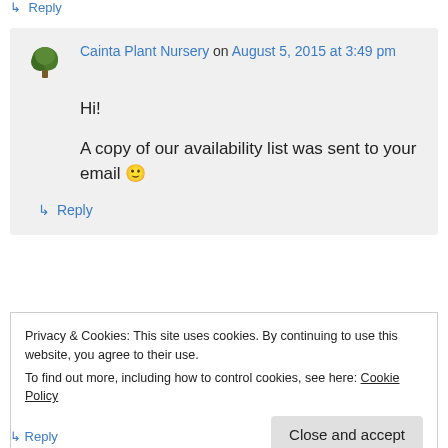↳ Reply
Cainta Plant Nursery on August 5, 2015 at 3:49 pm
Hi!
A copy of our availability list was sent to your email 🙂
↳ Reply
Privacy & Cookies: This site uses cookies. By continuing to use this website, you agree to their use.
To find out more, including how to control cookies, see here: Cookie Policy
Close and accept
↳ Reply